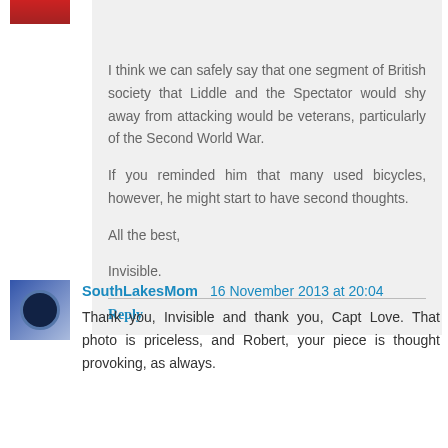Capt Love,
I think we can safely say that one segment of British society that Liddle and the Spectator would shy away from attacking would be veterans, particularly of the Second World War.

If you reminded him that many used bicycles, however, he might start to have second thoughts.

All the best,

Invisible.
Reply
SouthLakesMom  16 November 2013 at 20:04
Thank you, Invisible and thank you, Capt Love. That photo is priceless, and Robert, your piece is thought provoking, as always.